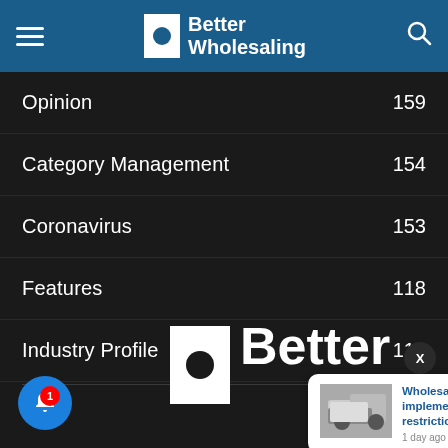Better Wholesaling
Opinion 159
Category Management 154
Coronavirus 153
Features 118
Industry Profile 117
[Figure (logo): Better Wholesaling logo with white door/rectangle icon and bold text]
[Figure (screenshot): Toast notification showing 'Wholesalers implement heatwave restrictions' with truck image, 1 day ago]